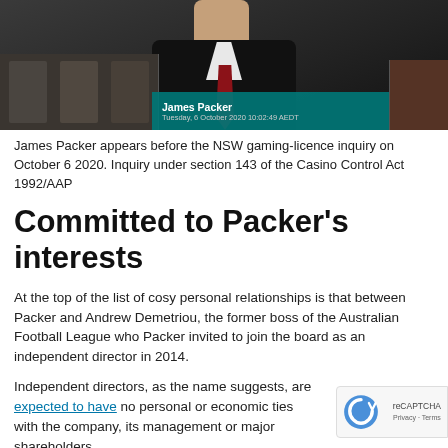[Figure (screenshot): Screenshot of James Packer appearing via video at the NSW gaming-licence inquiry on October 6 2020. Shows a man in a dark suit with a red tie, with a teal name bar reading 'James Packer' and date/time, and smaller video thumbnails on the left and right.]
James Packer appears before the NSW gaming-licence inquiry on October 6 2020. Inquiry under section 143 of the Casino Control Act 1992/AAP
Committed to Packer’s interests
At the top of the list of cosy personal relationships is that between Packer and Andrew Demetriou, the former boss of the Australian Football League who Packer invited to join the board as an independent director in 2014.
Independent directors, as the name suggests, are expected to have no personal or economic ties with the company, its management or major shareholders.